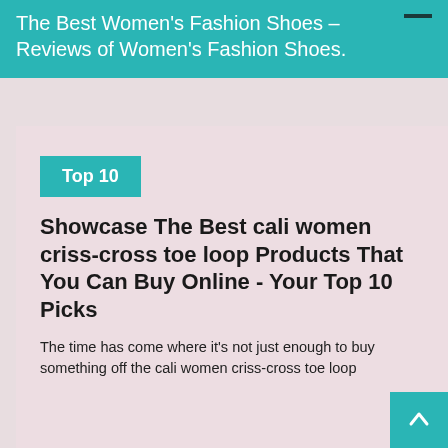The Best Women's Fashion Shoes – Reviews of Women's Fashion Shoes.
Top 10
Showcase The Best cali women criss-cross toe loop Products That You Can Buy Online - Your Top 10 Picks
The time has come where it's not just enough to buy something off the cali women criss-cross toe loop